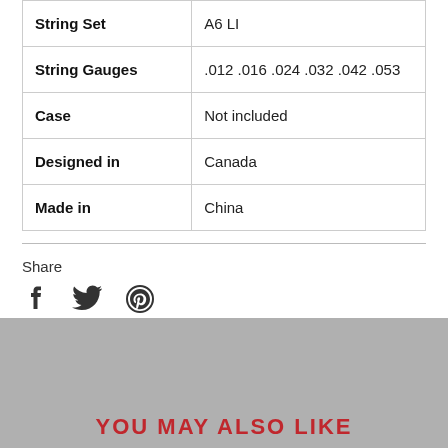| String Set | A6 LI |
| String Gauges | .012 .016 .024 .032 .042 .053 |
| Case | Not included |
| Designed in | Canada |
| Made in | China |
Share
[Figure (other): Social sharing icons: Facebook, Twitter, Pinterest]
YOU MAY ALSO LIKE